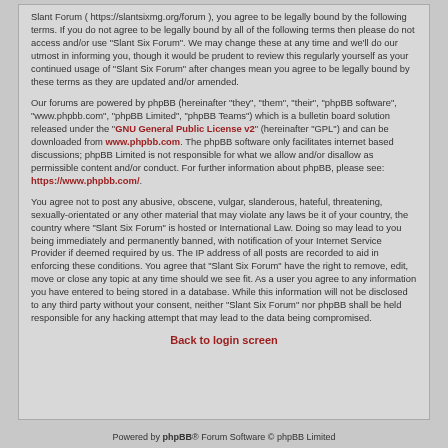Slant Forum ( https://slantsixmg.org/forum ), you agree to be legally bound by the following terms. If you do not agree to be legally bound by all of the following terms then please do not access and/or use "Slant Six Forum". We may change these at any time and we'll do our utmost in informing you, though it would be prudent to review this regularly yourself as your continued usage of "Slant Six Forum" after changes mean you agree to be legally bound by these terms as they are updated and/or amended.
Our forums are powered by phpBB (hereinafter "they", "them", "their", "phpBB software", "www.phpbb.com", "phpBB Limited", "phpBB Teams") which is a bulletin board solution released under the "GNU General Public License v2" (hereinafter "GPL") and can be downloaded from www.phpbb.com. The phpBB software only facilitates internet based discussions; phpBB Limited is not responsible for what we allow and/or disallow as permissible content and/or conduct. For further information about phpBB, please see: https://www.phpbb.com/.
You agree not to post any abusive, obscene, vulgar, slanderous, hateful, threatening, sexually-orientated or any other material that may violate any laws be it of your country, the country where "Slant Six Forum" is hosted or International Law. Doing so may lead to you being immediately and permanently banned, with notification of your Internet Service Provider if deemed required by us. The IP address of all posts are recorded to aid in enforcing these conditions. You agree that "Slant Six Forum" have the right to remove, edit, move or close any topic at any time should we see fit. As a user you agree to any information you have entered to being stored in a database. While this information will not be disclosed to any third party without your consent, neither "Slant Six Forum" nor phpBB shall be held responsible for any hacking attempt that may lead to the data being compromised.
Back to login screen
Powered by phpBB® Forum Software © phpBB Limited